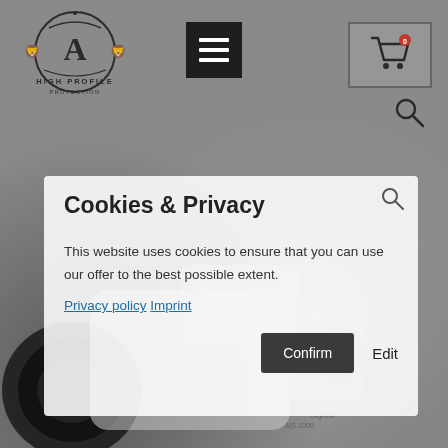High Profile — navigation header with logo, hamburger menu, cart button, and search icon
[Figure (screenshot): Background showing a partially visible grey/silver binocular or thermal imaging device camera against a grey background]
Cookies & Privacy
This website uses cookies to ensure that you can use our offer to the best possible extent.
Privacy policy Imprint
Confirm  Edit